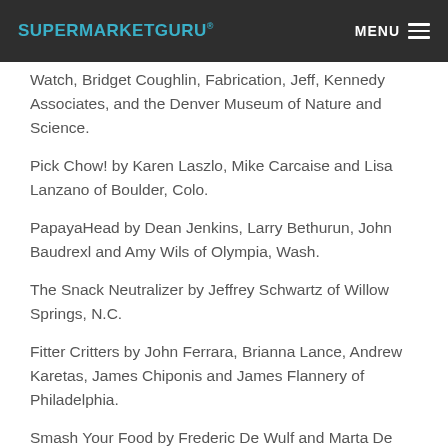SUPERMARKETGURU® MENU
Watch, Bridget Coughlin, Fabrication, Jeff, Kennedy Associates, and the Denver Museum of Nature and Science.
Pick Chow! by Karen Laszlo, Mike Carcaise and Lisa Lanzano of Boulder, Colo.
PapayaHead by Dean Jenkins, Larry Bethurun, John Baudrexl and Amy Wils of Olympia, Wash.
The Snack Neutralizer by Jeffrey Schwartz of Willow Springs, N.C.
Fitter Critters by John Ferrara, Brianna Lance, Andrew Karetas, James Chiponis and James Flannery of Philadelphia.
Smash Your Food by Frederic De Wulf and Marta De Wulf of Bellevue, Wash.